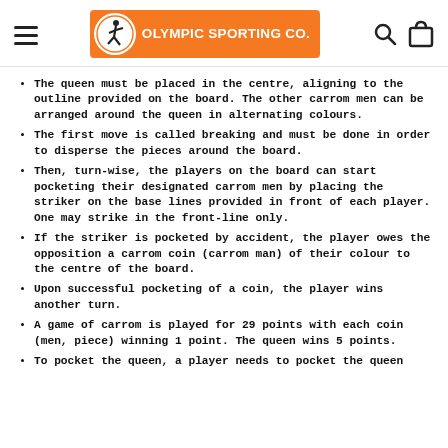Olympic Sporting Co.
The queen must be placed in the centre, aligning to the outline provided on the board. The other carrom men can be arranged around the queen in alternating colours.
The first move is called breaking and must be done in order to disperse the pieces around the board.
Then, turn-wise, the players on the board can start pocketing their designated carrom men by placing the striker on the base lines provided in front of each player. One may strike in the front-line only.
If the striker is pocketed by accident, the player owes the opposition a carrom coin (carrom man) of their colour to the centre of the board.
Upon successful pocketing of a coin, the player wins another turn.
A game of carrom is played for 29 points with each coin (men, piece) winning 1 point. The queen wins 5 points.
To pocket the queen, a player needs to pocket the queen